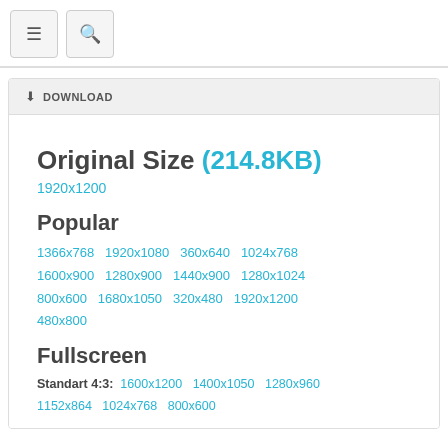≡ 🔍 (navigation icons)
⬇ DOWNLOAD
Original Size (214.8KB)
1920x1200
Popular
1366x768   1920x1080   360x640   1024x768
1600x900   1280x900   1440x900   1280x1024
800x600   1680x1050   320x480   1920x1200
480x800
Fullscreen
Standart 4:3:  1600x1200   1400x1050   1280x960
1152x864   1024x768   800x600